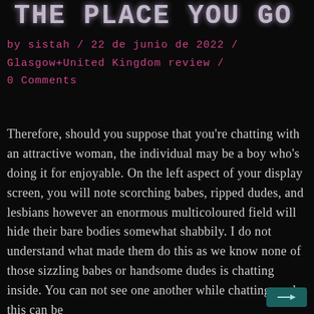THE PLACE YOU GO
by sistah / 22 de junio de 2022 / Glasgow+United Kingdom review / 0 Comments
Therefore, should you suppose that you're chatting with an attractive woman, the individual may be a boy who's doing it for enjoyable. On the left aspect of your display screen, you will note scorching babes, ripped dudes, and lesbians however an enormous multicoloured field will hide their bare bodies somewhat shabbily. I do not understand what made them do this as we know none of those sizzling babes or handsome dudes is chatting inside. You can not see one another while chatting, and this can be